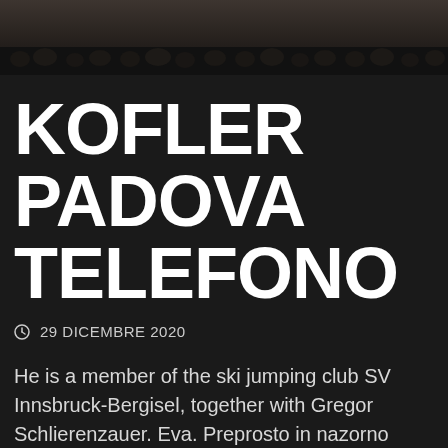[Figure (photo): Dark photo of an audience or crowd in a hall, partially visible at the top of the page]
KOFLER PADOVA TELEFONO
⊙ 29 DICEMBRE 2020
He is a member of the ski jumping club SV Innsbruck-Bergisel, together with Gregor Schlierenzauer. Eva. Preprosto in nazorno grafično analizo podjetja. Kofler Padova. Christmas Ski